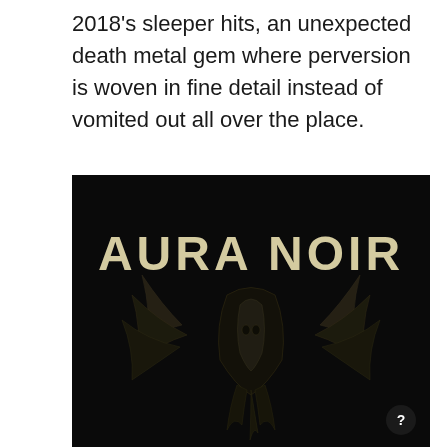2018's sleeper hits, an unexpected death metal gem where perversion is woven in fine detail instead of vomited out all over the place.
[Figure (illustration): Album cover art for Aura Noir — dark/black background with stylized 'AURA NOIR' text in pale yellow/cream metal font at the top, and below it a dark illustration of a creature or figure with wing-like or claw-like forms rendered in dark tones against the black background.]